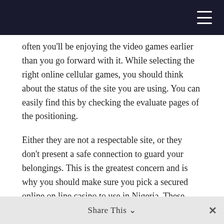often you'll be enjoying the video games earlier than you go forward with it. While selecting the right online cellular games, you should think about the status of the site you are using. You can easily find this by checking the evaluate pages of the positioning.
Either they are not a respectable site, or they don't present a safe connection to guard your belongings. This is the greatest concern and is why you should make sure you pick a secured online on line casino to use in Nigeria. These edges are there to make sure that the house will win over the lengthy-time period; nonetheless, the perimeters are totally different relying on the games you play. Therefore, before you play on-line casino games, select those which have a low house edge. Online casino games are incredible; they
Share This